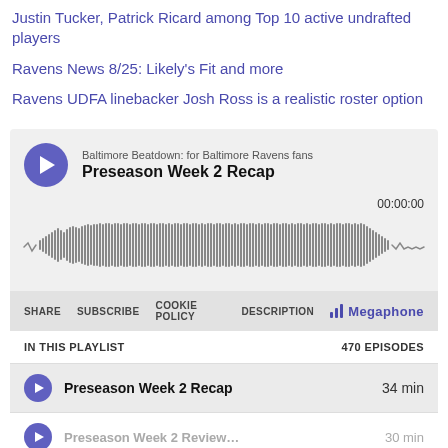Justin Tucker, Patrick Ricard among Top 10 active undrafted players
Ravens News 8/25: Likely's Fit and more
Ravens UDFA linebacker Josh Ross is a realistic roster option
[Figure (screenshot): Podcast player widget for 'Baltimore Beatdown: for Baltimore Ravens fans' showing episode 'Preseason Week 2 Recap', timestamp 00:00:00, audio waveform visualization, controls for SHARE, SUBSCRIBE, COOKIE POLICY, DESCRIPTION, and Megaphone branding. Playlist section showing 470 EPISODES with 'Preseason Week 2 Recap' at 34 min.]